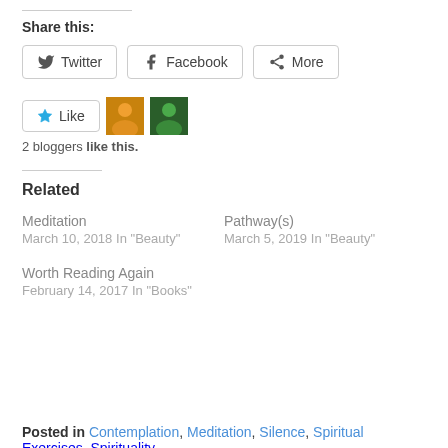Share this:
Twitter | Facebook | More
[Figure (other): Like button with star icon and two blogger avatars]
2 bloggers like this.
Related
Meditation
March 10, 2018
In "Beauty"
Pathway(s)
March 5, 2019
In "Beauty"
Worth Reading Again
February 14, 2017
In "Books"
Posted in Contemplation, Meditation, Silence, Spiritual Exercises, Spirituality